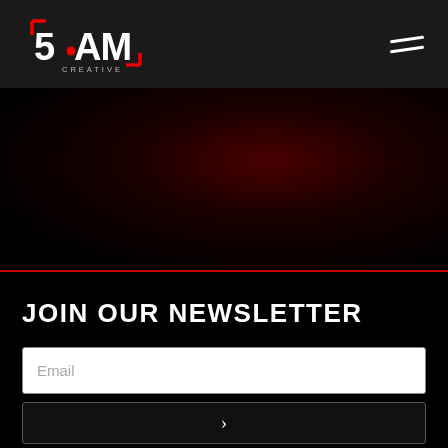5AM Creative — navigation bar with logo and hamburger menu
[Figure (logo): 5AM Creative logo in white and red on dark background, with hamburger menu icon on the right]
[Figure (photo): Dark hero section with dark reddish radial glow, mostly black]
JOIN OUR NEWSLETTER
Email
Submit button with arrow